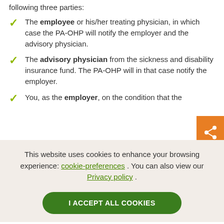following three parties:
The employee or his/her treating physician, in which case the PA-OHP will notify the employer and the advisory physician.
The advisory physician from the sickness and disability insurance fund. The PA-OHP will in that case notify the employer.
You, as the employer, on the condition that the
This website uses cookies to enhance your browsing experience: cookie-preferences . You can also view our Privacy policy .
I ACCEPT ALL COOKIES
Employers can initiate the reintegration process as from